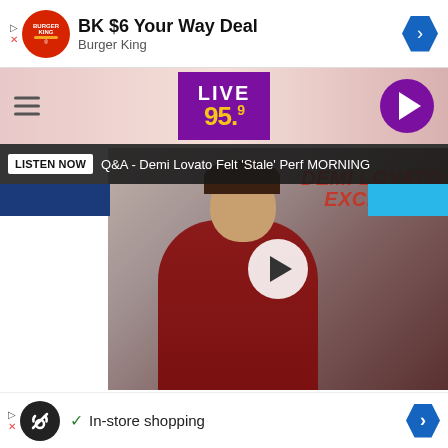[Figure (screenshot): Burger King advertisement banner: BK $6 Your Way Deal with Burger King logo and navigation arrow]
[Figure (screenshot): Live 95.9 radio station header with hamburger menu, purple logo, and play button]
LISTEN NOW Q&A - Demi Lovato Felt 'Stale' Perf MORNING
[Figure (screenshot): Demi Lovato Exclusive video thumbnail with play button overlay and red text 'DEMI LOVATO EXCLUSIVE']
American Idol is the first competition series to offer live coast-to-coast viewing. The show, which was revived at ABC in March after originating on Fox, features returning host Ryan S[eacrest] and Luke B[ryan]
[Figure (screenshot): Advertisement overlay: In-store shopping with loop icon, checkmark, and navigation arrow]